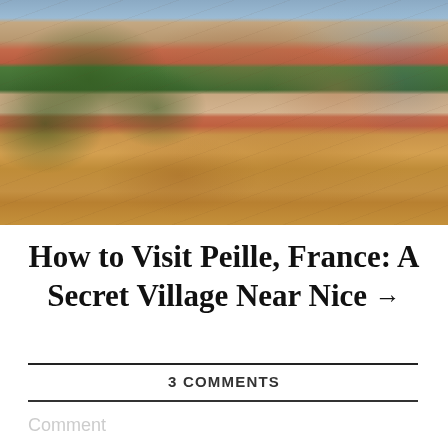[Figure (photo): Aerial/overhead view of the stone village of Peille, France, showing terracotta-roofed buildings, green trees, and dry golden hillside terrain.]
How to Visit Peille, France: A Secret Village Near Nice →
3 COMMENTS
Comment